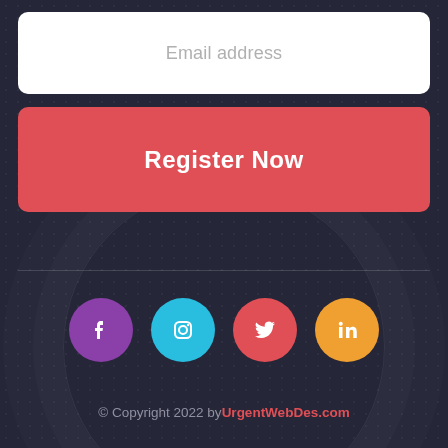Email address
Register Now
[Figure (other): Social media icons row: Facebook (purple), Instagram (cyan), Twitter (red), LinkedIn (orange)]
© Copyright 2022 by UrgentWebDes.com